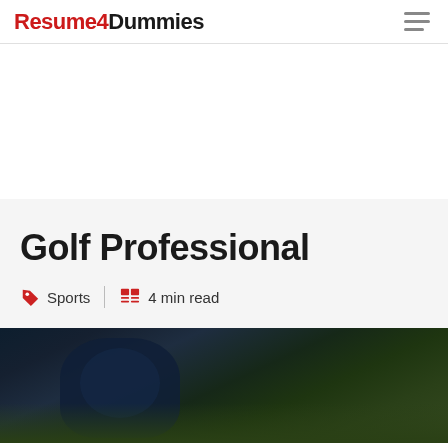Resume4Dummies
Golf Professional
Sports | 4 min read
[Figure (photo): Close-up photo of a golf professional with golf bag/equipment, dark blue clothing, green background visible]